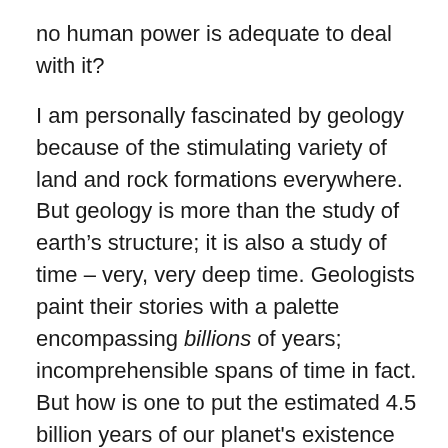no human power is adequate to deal with it?
I am personally fascinated by geology because of the stimulating variety of land and rock formations everywhere. But geology is more than the study of earth's structure; it is also a study of time – very, very deep time. Geologists paint their stories with a palette encompassing billions of years; incomprehensible spans of time in fact. But how is one to put the estimated 4.5 billion years of our planet's existence into some human context?
Try to imagine that entire span of time compressed into a single calendar year. On such a time scale human beings have been plodding around for the last ten minutes or so. That would mean arriving at a party which started a year back on New Year's day at 11:50 p.m., December 31. I hope you brought some chips or pretzels; the supply was